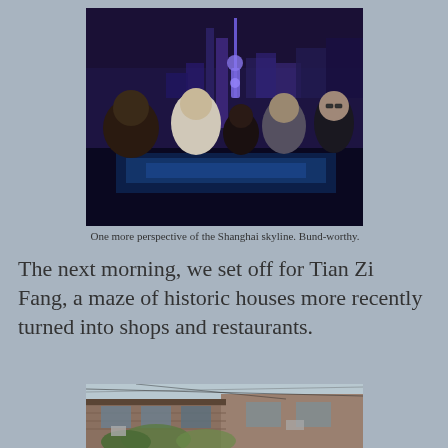[Figure (photo): Four people sitting on a rooftop bar at night with the illuminated Shanghai skyline in the background, featuring the Oriental Pearl Tower lit up in blue and purple.]
One more perspective of the Shanghai skyline. Bund-worthy.
The next morning, we set off for Tian Zi Fang, a maze of historic houses more recently turned into shops and restaurants.
[Figure (photo): Daytime view of historic lane houses in Tian Zi Fang, Shanghai, showing old brick buildings with wooden windows and balconies with overhead cables.]